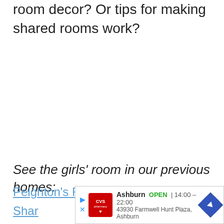room decor? Or tips for making shared rooms work?
See the girls' room in our previous homes:
Peig... [link text partially visible]
Shar... [link text partially visible]
[Figure (other): Advertisement banner for CVS Pharmacy in Ashburn. Shows CVS logo, 'Ashburn OPEN | 14:00 - 22:00', address '43930 Farmwell Hunt Plaza, Ashburn', and a navigation arrow icon.]